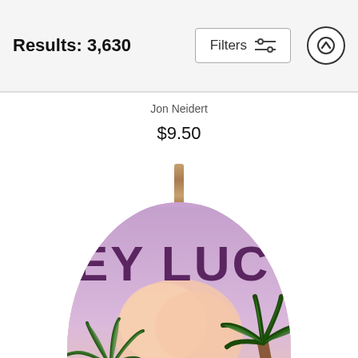Results: 3,630
Filters
Jon Neidert
$9.50
[Figure (photo): An oval ceramic ornament hanging by a rope/twine, featuring a tropical Key West scene with palm trees, pastel purple-pink sky, pink clouds, and bold dark text reading 'EY LUC' (partial view of 'KEY LUCKY' or similar), displayed on a white product listing background.]